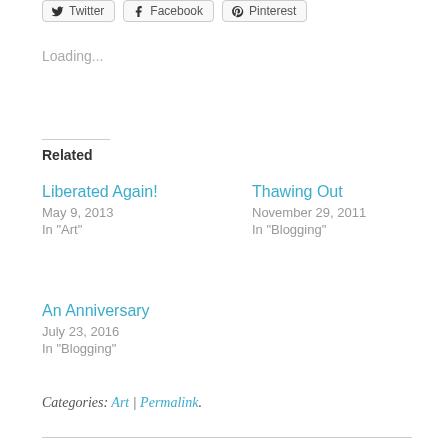[Figure (other): Social sharing buttons: Twitter, Facebook, Pinterest]
Loading...
Related
Liberated Again!
May 9, 2013
In "Art"
Thawing Out
November 29, 2011
In "Blogging"
An Anniversary
July 23, 2016
In "Blogging"
Categories: Art | Permalink.